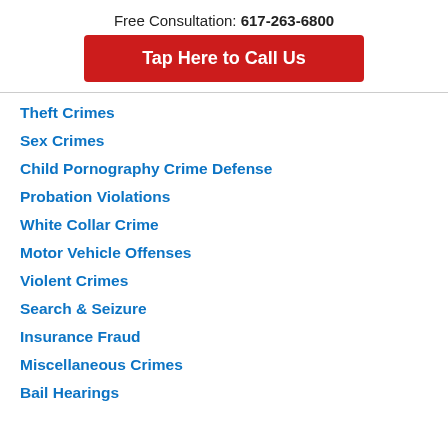Free Consultation: 617-263-6800
Tap Here to Call Us
Theft Crimes
Sex Crimes
Child Pornography Crime Defense
Probation Violations
White Collar Crime
Motor Vehicle Offenses
Violent Crimes
Search & Seizure
Insurance Fraud
Miscellaneous Crimes
Bail Hearings